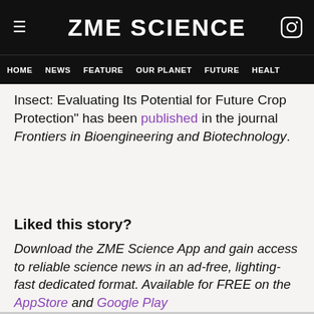ZME SCIENCE
HOME  NEWS  FEATURE  OUR PLANET  FUTURE  HEALT
Insect: Evaluating Its Potential for Future Crop Protection" has been published in the journal Frontiers in Bioengineering and Biotechnology.
Liked this story?
Download the ZME Science App and gain access to reliable science news in an ad-free, lighting-fast dedicated format. Available for FREE on the AppStore and Google Play